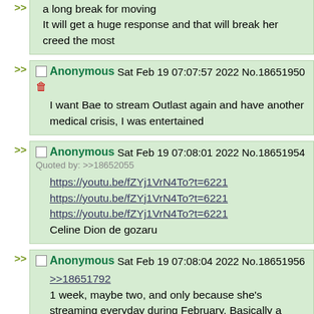a long break for moving
It will get a huge response and that will break her creed the most
Anonymous Sat Feb 19 07:07:57 2022 No.18651950
I want Bae to stream Outlast again and have another medical crisis, I was entertained
Anonymous Sat Feb 19 07:08:01 2022 No.18651954
Quoted by: >>18652055
https://youtu.be/fZYj1VrN4To?t=6221
https://youtu.be/fZYj1VrN4To?t=6221
https://youtu.be/fZYj1VrN4To?t=6221
Celine Dion de gozaru
Anonymous Sat Feb 19 07:08:04 2022 No.18651956
>>18651792
1 week, maybe two, and only because she's streaming everyday during February. Basically a mini-vacation for mental health purposes.
Anonymous Sat Feb 19 07:08:08 2022 No.18651960 (partial, cut off)